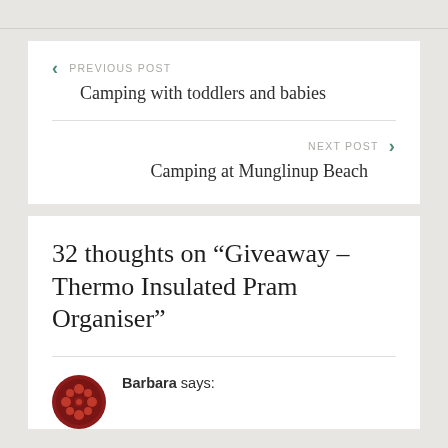PREVIOUS POST
Camping with toddlers and babies
NEXT POST
Camping at Munglinup Beach
32 thoughts on “Giveaway – Thermo Insulated Pram Organiser”
Barbara says: